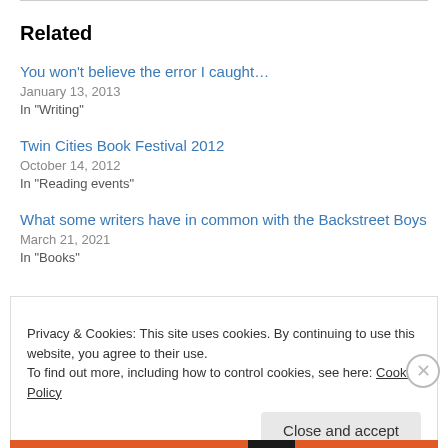Related
You won't believe the error I caught…
January 13, 2013
In "Writing"
Twin Cities Book Festival 2012
October 14, 2012
In "Reading events"
What some writers have in common with the Backstreet Boys
March 21, 2021
In "Books"
Privacy & Cookies: This site uses cookies. By continuing to use this website, you agree to their use.
To find out more, including how to control cookies, see here: Cookie Policy
Close and accept